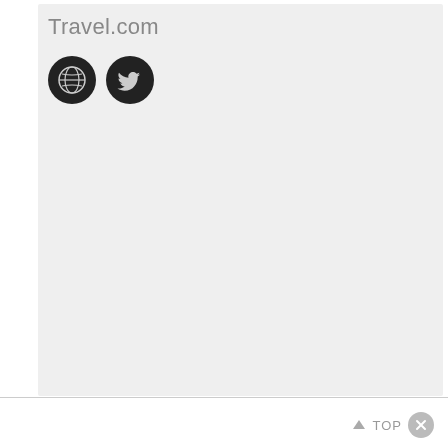Travel.com
[Figure (screenshot): Two dark circular social media icon buttons: a globe/website icon and a Twitter bird icon, displayed on a light grey card background.]
▲ TOP ✕